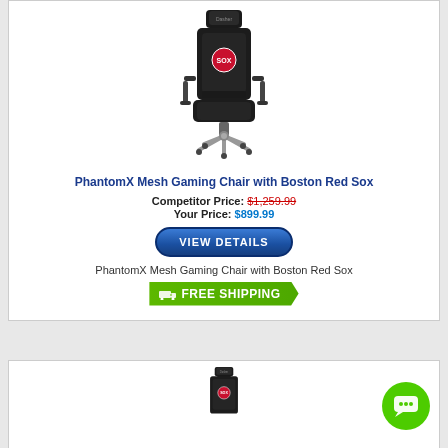[Figure (photo): Black gaming chair with Boston Red Sox logo on the backrest and headrest, silver/chrome five-star base with casters, adjustable armrests]
PhantomX Mesh Gaming Chair with Boston Red Sox
Competitor Price: $1,259.99
Your Price: $899.99
[Figure (other): VIEW DETAILS button - dark blue rounded pill button]
PhantomX Mesh Gaming Chair with Boston Red Sox
[Figure (other): FREE SHIPPING green arrow banner with truck icon]
[Figure (photo): Second gaming chair product image, partially visible at bottom of page]